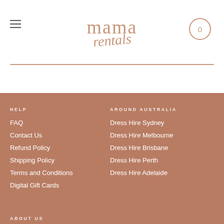[Figure (logo): Mama Rentals logo with stylized script text in terracotta/rose color]
Mama Rentals website header with hamburger menu and cart button showing 0
HELP
FAQ
Contact Us
Refund Policy
Shipping Policy
Terms and Conditions
Digital Gift Cards
AROUND AUSTRALIA
Dress Hire Sydney
Dress Hire Melbourne
Dress Hire Brisbane
Dress Hire Perth
Dress Hire Adelaide
ABOUT US